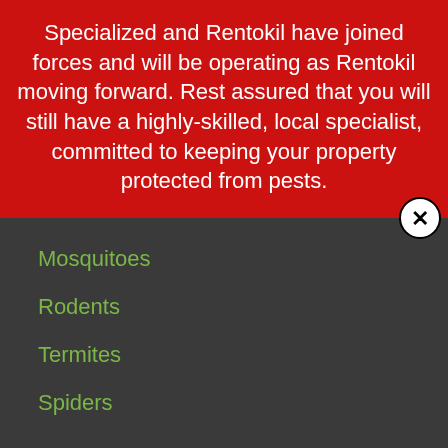Specialized and Rentokil have joined forces and will be operating as Rentokil moving forward. Rest assured that you will still have a highly-skilled, local specialist, committed to keeping your property protected from pests.
Mosquitoes
Rodents
Termites
Spiders
REVIEWS
Rentokil
[Figure (other): Five yellow star rating icons]